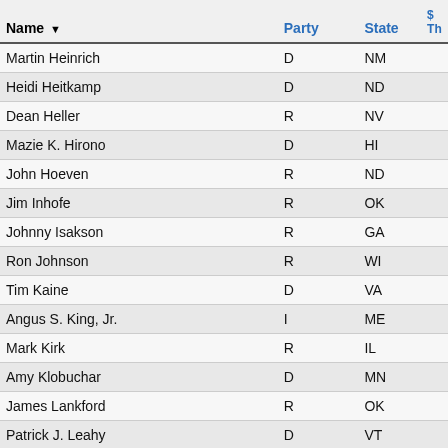| Name ▼ | Party | State | $ Th |
| --- | --- | --- | --- |
| Martin Heinrich | D | NM |  |
| Heidi Heitkamp | D | ND |  |
| Dean Heller | R | NV |  |
| Mazie K. Hirono | D | HI |  |
| John Hoeven | R | ND |  |
| Jim Inhofe | R | OK |  |
| Johnny Isakson | R | GA |  |
| Ron Johnson | R | WI |  |
| Tim Kaine | D | VA |  |
| Angus S. King, Jr. | I | ME |  |
| Mark Kirk | R | IL |  |
| Amy Klobuchar | D | MN |  |
| James Lankford | R | OK |  |
| Patrick J. Leahy | D | VT |  |
| Mike Lee | R | UT |  |
| Joe Manchin, III | D | WV |  |
| Ed Markey | D | MA |  |
| John McCain | R | AZ |  |
| Claire McCaskill | D | MO |  |
| Addison "Mitch" McConnell | R | KY |  |
| Bob Menéndez | D | NJ |  |
| Jeff Merkley | D | OR |  |
| ... | R | MD |  |